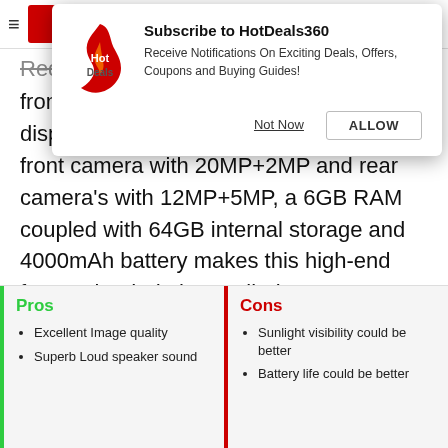[Figure (screenshot): HotDeals360 browser push notification subscription modal overlay with logo, title, subtitle text, and two buttons (Not Now, ALLOW)]
Redmi Mi Note 6 Pro is the best phone under 15000 from Xiaomi that comes with a 6.26-inch display and an Octa-Core processor. A front camera with 20MP+2MP and rear camera's with 12MP+5MP, a 6GB RAM coupled with 64GB internal storage and 4000mAh battery makes this high-end feature loaded phone alluring.
Pros
Excellent Image quality
Superb Loud speaker sound
Cons
Sunlight visibility could be better
Battery life could be better